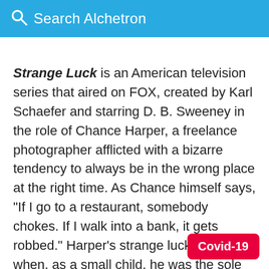Search Alchetron
Strange Luck is an American television series that aired on FOX, created by Karl Schaefer and starring D. B. Sweeney in the role of Chance Harper, a freelance photographer afflicted with a bizarre tendency to always be in the wrong place at the right time. As Chance himself says, "If I go to a restaurant, somebody chokes. If I walk into a bank, it gets robbed." Harper's strange luck began when, as a small child, he was the sole survivor of a plane crash that killed everyone else aboard, including his mother and sister.
Covid-19